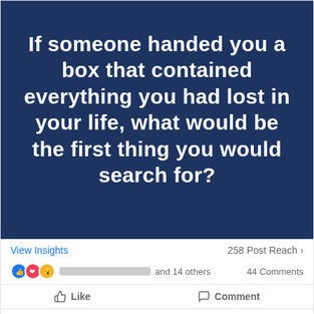[Figure (other): Dark navy blue background image with white bold text reading: If someone handed you a box that contained everything you had lost in your life, what would be the first thing you would search for?]
View Insights
258 Post Reach >
[reaction icons] [blurred name] and 14 others   44 Comments
Like   Comment
Most Recent ▾
Write a comment...
[blurred username]
My sense of self ❤ 1